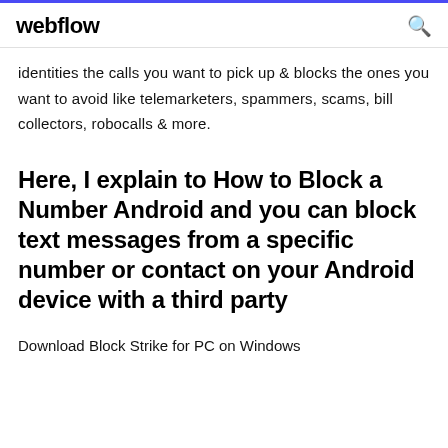webflow
identities the calls you want to pick up & blocks the ones you want to avoid like telemarketers, spammers, scams, bill collectors, robocalls & more.
Here, I explain to How to Block a Number Android and you can block text messages from a specific number or contact on your Android device with a third party
Download Block Strike for PC on Windows